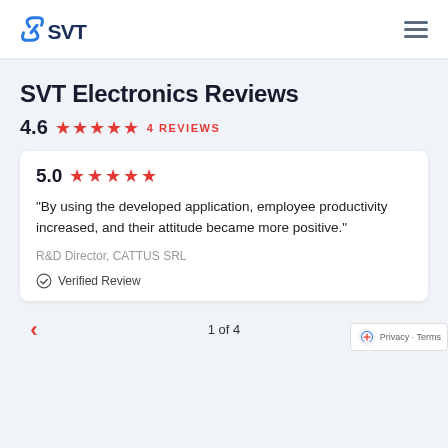SVT logo and navigation menu
SVT Electronics Reviews
4.6  ★★★★★  4 REVIEWS
5.0  ★★★★★
"By using the developed application, employee productivity increased, and their attitude became more positive."
R&D Director, CATTUS SRL
Verified Review
1 of 4